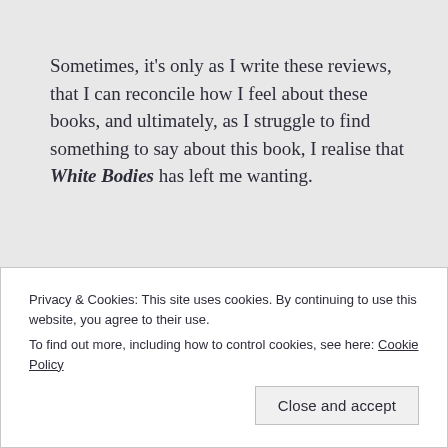Sometimes, it's only as I write these reviews, that I can reconcile how I feel about these books, and ultimately, as I struggle to find something to say about this book, I realise that White Bodies has left me wanting.
It's by no means a bad book – I've read much, much worse – but this is fairly average fare. A convoluted and confusing plot coupled with an odd lead character (she
Privacy & Cookies: This site uses cookies. By continuing to use this website, you agree to their use.
To find out more, including how to control cookies, see here: Cookie Policy
Close and accept